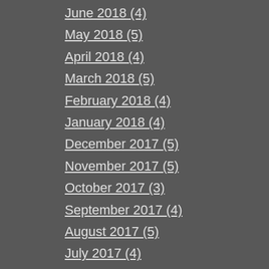June 2018 (4)
May 2018 (5)
April 2018 (4)
March 2018 (5)
February 2018 (4)
January 2018 (4)
December 2017 (5)
November 2017 (5)
October 2017 (3)
September 2017 (4)
August 2017 (5)
July 2017 (4)
June 2017 (5)
May 2017 (4)